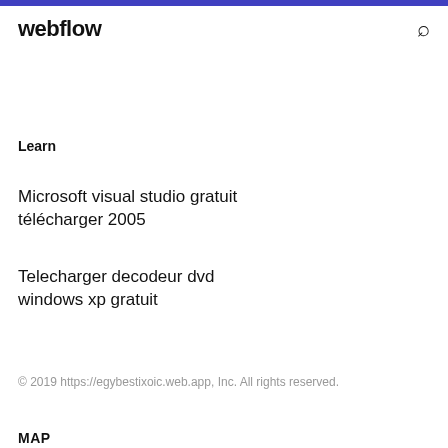webflow
Learn
Microsoft visual studio gratuit télécharger 2005
Telecharger decodeur dvd windows xp gratuit
© 2019 https://egybestixoic.web.app, Inc. All rights reserved.
MAP